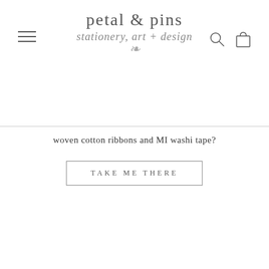petal & pins — stationery, art + design
woven cotton ribbons and MI washi tape?
TAKE ME THERE